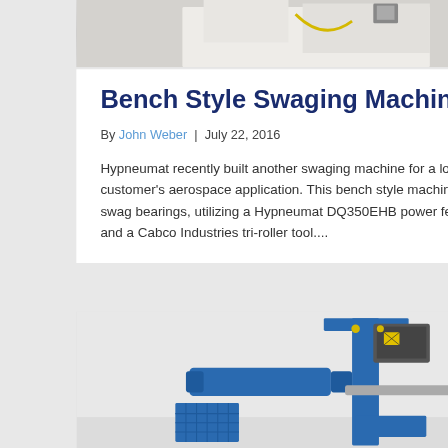[Figure (photo): Partial photo of a person in white lab coat/uniform, cropped at top of page]
Bench Style Swaging Machine
By John Weber | July 22, 2016
Hypneumat recently built another swaging machine for a local customer's aerospace application. This bench style machine will swag bearings, utilizing a Hypneumat DQ350EHB power feed unit and a Cabco Industries tri-roller tool....
[Figure (photo): Photo of a blue bench style swaging machine with motor unit mounted on a vertical stand, with various components visible]